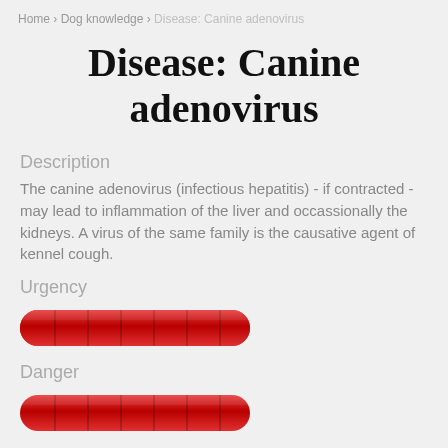Home › Dog knowledge › Disease: Canine adenovirus
Disease: Canine adenovirus
Description
The canine adenovirus (infectious hepatitis) - if contracted - may lead to inflammation of the liver and occassionally the kidneys. A virus of the same family is the causative agent of kennel cough.
Urgency
[Figure (infographic): Red pill-shaped rating bar indicating urgency level, approximately 5-6 out of 7 segments filled]
Danger
[Figure (infographic): Red pill-shaped rating bar indicating danger level, approximately 5-6 out of 7 segments filled]
Course
The canine adenovirus occurs especially often in young dogs